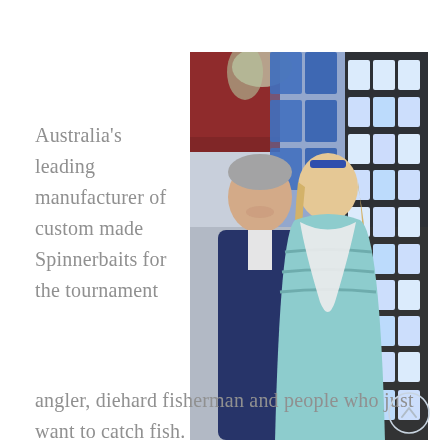[Figure (photo): Two people (a man and a woman) smiling in a fishing tackle shop, standing in front of a display rack filled with blue packaged fishing lures and spinnerbaits. Red shelving visible on the upper left.]
Australia's leading manufacturer of custom made Spinnerbaits for the tournament angler, diehard fisherman and people who just want to catch fish.